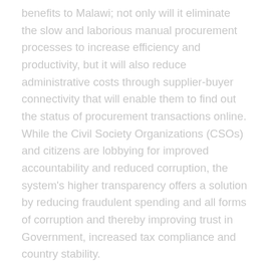benefits to Malawi; not only will it eliminate the slow and laborious manual procurement processes to increase efficiency and productivity, but it will also reduce administrative costs through supplier-buyer connectivity that will enable them to find out the status of procurement transactions online. While the Civil Society Organizations (CSOs) and citizens are lobbying for improved accountability and reduced corruption, the system's higher transparency offers a solution by reducing fraudulent spending and all forms of corruption and thereby improving trust in Government, increased tax compliance and country stability.
With the e-GP System, suppliers/bidders will also be able to present their products online and reach a broader base of buyers than before. They will also be empowered to see and track the whole procurement